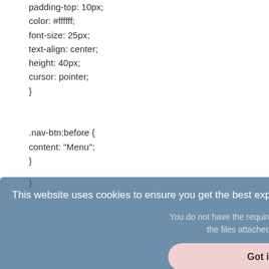padding-top: 10px;
color: #ffffff;
font-size: 25px;
text-align: center;
height: 40px;
cursor: pointer;
}

.nav-btn:before {
content: "Menu";
}

}
[Figure (screenshot): Blue cookie consent banner overlay with text 'This website uses cookies to ensure you get the best experience on our website. Learn more' and a 'Got it!' button. Overlapping with a pink/red rectangle on the right edge. Beneath the cookie banner there is small text: 'You do not have the required permissions to view the files attached to this post.']
[Figure (other): Teal upward-pointing chevron/arrow at bottom right corner]